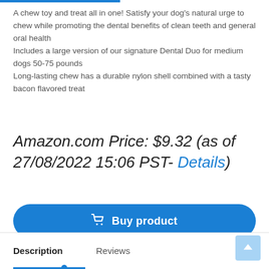A chew toy and treat all in one! Satisfy your dog's natural urge to chew while promoting the dental benefits of clean teeth and general oral health
Includes a large version of our signature Dental Duo for medium dogs 50-75 pounds
Long-lasting chew has a durable nylon shell combined with a tasty bacon flavored treat
Amazon.com Price: $9.32 (as of 27/08/2022 15:06 PST- Details)
[Figure (other): Blue 'Buy product' button with shopping cart icon]
Description   Reviews